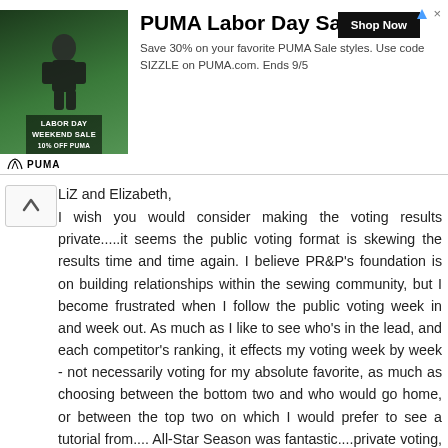[Figure (infographic): PUMA Labor Day Sale advertisement banner with a photo of an athlete, PUMA logo, and Shop Now button.]
LiZ and Elizabeth,
I wish you would consider making the voting results private.....it seems the public voting format is skewing the results time and time again. I believe PR&P's foundation is on building relationships within the sewing community, but I become frustrated when I follow the public voting week in and week out. As much as I like to see who's in the lead, and each competitor's ranking, it effects my voting week by week - not necessarily voting for my absolute favorite, as much as choosing between the bottom two and who would go home, or between the top two on which I would prefer to see a tutorial from.... All-Star Season was fantastic....private voting, and a lot of SURPRISE the following week! Just food for thought {and a little bit of a "platform speech" from me}.
That said, I consider myself a guilty party as well .... Emily